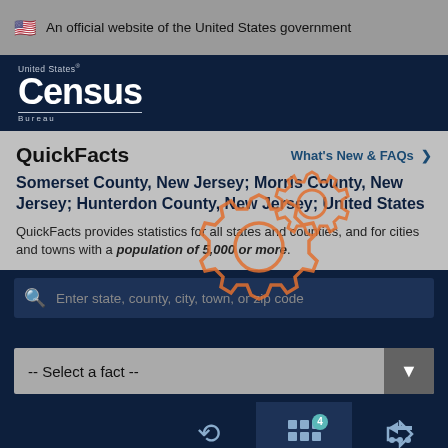An official website of the United States government
[Figure (logo): United States Census Bureau logo]
QuickFacts
What's New & FAQs >
Somerset County, New Jersey; Morris County, New Jersey; Hunterdon County, New Jersey; United States
QuickFacts provides statistics for all states and counties, and for cities and towns with a population of 5,000 or more.
Enter state, county, city, town, or zip code
-- Select a fact --
CLEAR
TABLE
MORE